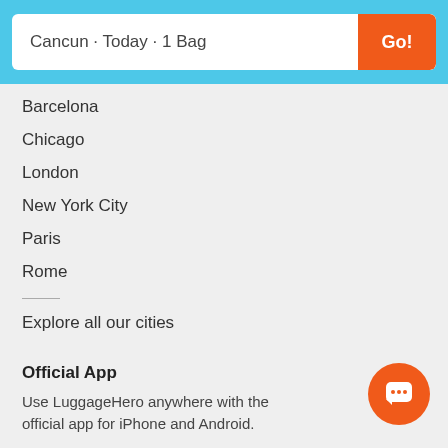Cancun · Today · 1 Bag
Barcelona
Chicago
London
New York City
Paris
Rome
Explore all our cities
Official App
Use LuggageHero anywhere with the official app for iPhone and Android.
[Figure (screenshot): App Store download badge]
[Figure (screenshot): Google Play download badge]